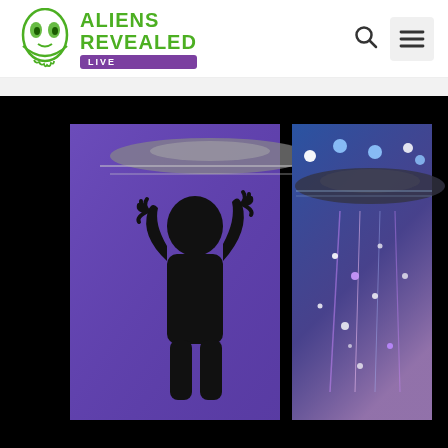Aliens Revealed Live
[Figure (photo): Dark image showing two window-like panels with purple/blue glow: left panel has a child silhouette with hands raised against a glowing purple background with UFO visible above; right panel shows a UFO with blue lights above and sparkling purple/pink energy below]